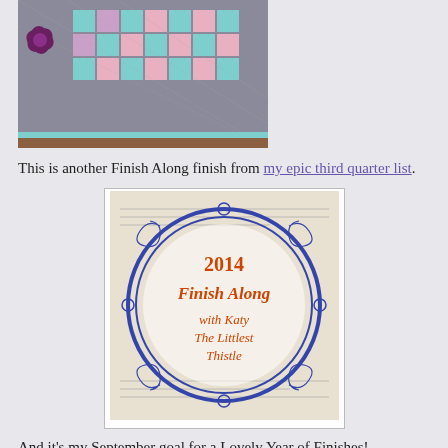[Figure (photo): Photo of a quilt with pink and teal/mint nine-patch blocks and a dark purple flower block on a light background]
This is another Finish Along finish from my epic third quarter list.
[Figure (illustration): 2014 Finish Along badge with Katy The Littlest Thistle — circular blue ornate border on a newspaper background with orange text inside]
And it's my September goal for a Lovely Year of Finishes!
[Figure (other): My Button placeholder image button]